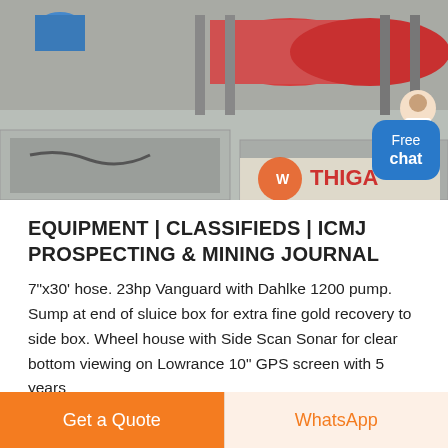[Figure (photo): Outdoor industrial mining facility with large cylindrical rotating mill/drum equipment mounted on a frame structure. Concrete settling tanks/boxes visible in foreground. Orange and blue company logo visible on equipment. Free chat button overlay in bottom-right corner with a customer service avatar.]
EQUIPMENT | CLASSIFIEDS | ICMJ PROSPECTING & MINING JOURNAL
7"x30' hose. 23hp Vanguard with Dahlke 1200 pump. Sump at end of sluice box for extra fine gold recovery to side box. Wheel house with Side Scan Sonar for clear bottom viewing on Lowrance 10" GPS screen with 5 years